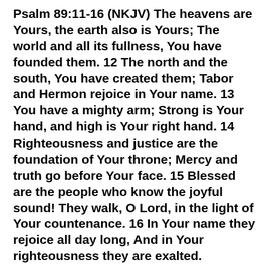Psalm 89:11-16 (NKJV) The heavens are Yours, the earth also is Yours; The world and all its fullness, You have founded them. 12 The north and the south, You have created them; Tabor and Hermon rejoice in Your name. 13 You have a mighty arm; Strong is Your hand, and high is Your right hand. 14 Righteousness and justice are the foundation of Your throne; Mercy and truth go before Your face. 15 Blessed are the people who know the joyful sound! They walk, O Lord, in the light of Your countenance. 16 In Your name they rejoice all day long, And in Your righteousness they are exalted.
But there is a life beyond this one of eternal darkness for those who do not live in the light of God's love:
John 3:19-21 (NKJV) And this is the condemnation, that the light has come into the world, and men loved